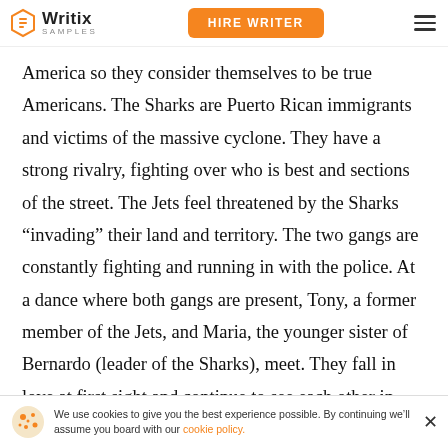Writix SAMPLES | HIRE WRITER
America so they consider themselves to be true Americans. The Sharks are Puerto Rican immigrants and victims of the massive cyclone. They have a strong rivalry, fighting over who is best and sections of the street. The Jets feel threatened by the Sharks “invading” their land and territory. The two gangs are constantly fighting and running in with the police. At a dance where both gangs are present, Tony, a former member of the Jets, and Maria, the younger sister of Bernardo (leader of the Sharks), meet. They fall in love at first sight and continue to see each other in secret despite the con
We use cookies to give you the best experience possible. By continuing we’ll assume you board with our cookie policy.